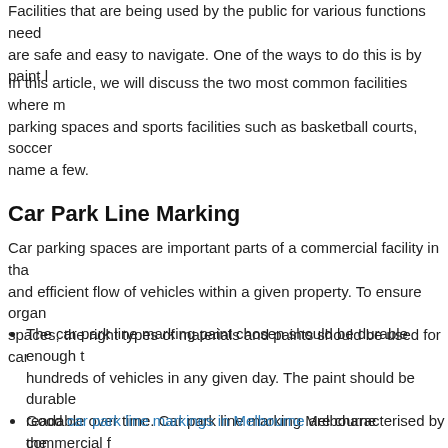Facilities that are being used by the public for various functions need to be safe and easy to navigate. One of the ways to do this is by paint l...
In this article, we will discuss the two most common facilities where m... parking spaces and sports facilities such as basketball courts, soccer ... name a few.
Car Park Line Marking
Car parking spaces are important parts of a commercial facility in tha... and efficient flow of vehicles within a given property. To ensure orga... spaces, the right types of materials and paints should be used for car...
The car park line marking paint chosen should be durable enough to withstand hundreds of vehicles in any given day. The paint should be durable and readable over time. Car park line marking Melbourne commercial f... be vibrant in order for it to be highly visible even during evenings w...
Good car park line markings in Melbourne are characterised by the... features. Anti-slip and anti-skid features are important in that they...